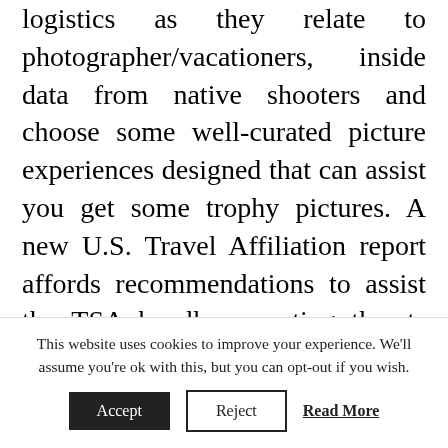logistics as they relate to photographer/vacationers, inside data from native shooters and choose some well-curated picture experiences designed that can assist you get some trophy pictures. A new U.S. Travel Affiliation report affords recommendations to assist the TSA handle mounting threats while efficiently processing travelers.

That is why a transportable luggage scale makes such a perfect travel reward for frequent fliers. Created an excellent video explaining the differences between travel adapters (plug adapters) and voltage converters
This website uses cookies to improve your experience. We'll assume you're ok with this, but you can opt-out if you wish. Accept Reject Read More